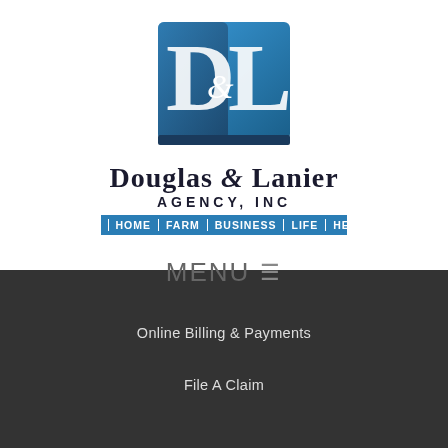[Figure (logo): Douglas & Lanier Agency Inc logo: a square icon with 'D' and 'L' letters in blue/steel tones with an ampersand, above the company name and service categories bar]
Douglas & Lanier Agency, Inc
AUTO | HOME | FARM | BUSINESS | LIFE | HEALTH
MENU ≡
Online Billing & Payments
File A Claim